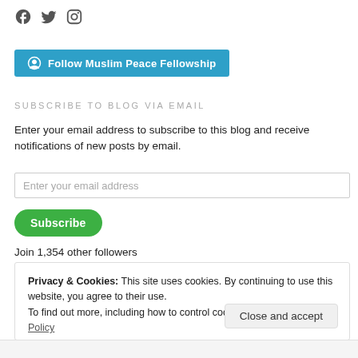[Figure (logo): Social media icons: Facebook, Twitter, Instagram]
[Figure (other): Follow Muslim Peace Fellowship button with WordPress icon]
SUBSCRIBE TO BLOG VIA EMAIL
Enter your email address to subscribe to this blog and receive notifications of new posts by email.
Enter your email address (input field)
Subscribe (button)
Join 1,354 other followers
Privacy & Cookies: This site uses cookies. By continuing to use this website, you agree to their use.
To find out more, including how to control cookies, see here: Cookie Policy
Close and accept